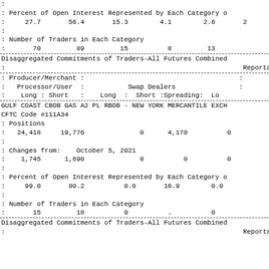:
: Percent of Open Interest Represented by Each Category o
:     27.7       56.4       15.3        4.1        2.6       2
:
: Number of Traders in Each Category
:       70         89         15          8         13
Disaggregated Commitments of Traders-All Futures Combined
:                                                            Reportable
: Producer/Merchant :
:   Processor/User  :           Swap Dealers          :
:    Long : Short  :    Long  :  Short :Spreading:  Lo
GULF COAST CBOB GAS A2 PL RBOB - NEW YORK MERCANTILE EXCH
CFTC Code #111A34
: Positions
:   24,418     19,776              0      4,170          0
:
: Changes from:    October 5, 2021
:    1,745      1,690              0          0          0
:
: Percent of Open Interest Represented by Each Category o
:     99.0       80.2          0.0       16.9        0.0
:
: Number of Traders in Each Category
:       15         18          0          .          0
Disaggregated Commitments of Traders-All Futures Combined
:                                                            Reportable